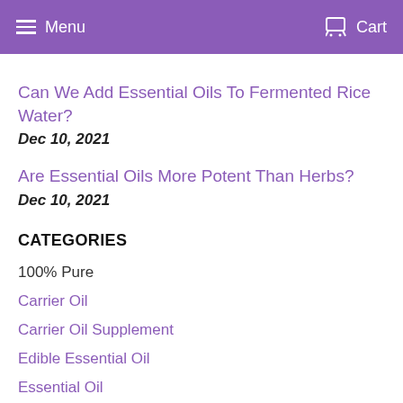Menu   Cart
Can We Add Essential Oils To Fermented Rice Water?
Dec 10, 2021
Are Essential Oils More Potent Than Herbs?
Dec 10, 2021
CATEGORIES
100% Pure
Carrier Oil
Carrier Oil Supplement
Edible Essential Oil
Essential Oil
Essential Oil Supplement
Natural